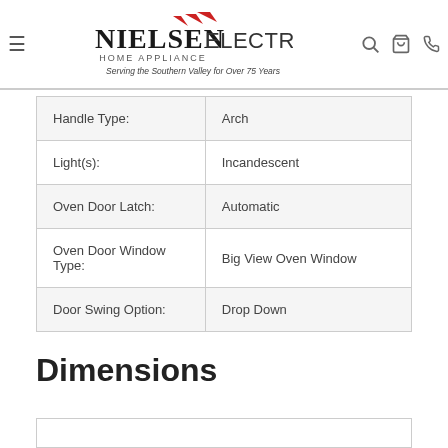Nielsen Electric Home Appliance — Serving the Southern Valley for Over 75 Years
| Handle Type: | Arch |
| Light(s): | Incandescent |
| Oven Door Latch: | Automatic |
| Oven Door Window Type: | Big View Oven Window |
| Door Swing Option: | Drop Down |
Dimensions